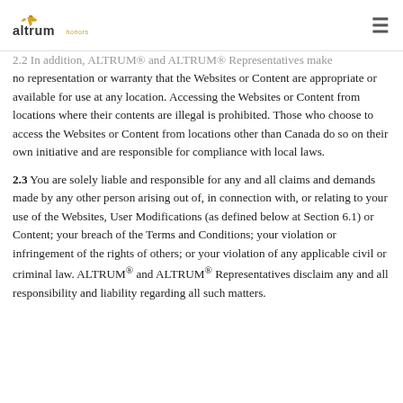altrum honors
2.2 In addition, ALTRUM® and ALTRUM® Representatives make no representation or warranty that the Websites or Content are appropriate or available for use at any location. Accessing the Websites or Content from locations where their contents are illegal is prohibited. Those who choose to access the Websites or Content from locations other than Canada do so on their own initiative and are responsible for compliance with local laws.
2.3 You are solely liable and responsible for any and all claims and demands made by any other person arising out of, in connection with, or relating to your use of the Websites, User Modifications (as defined below at Section 6.1) or Content; your breach of the Terms and Conditions; your violation or infringement of the rights of others; or your violation of any applicable civil or criminal law. ALTRUM® and ALTRUM® Representatives disclaim any and all responsibility and liability regarding all such matters.